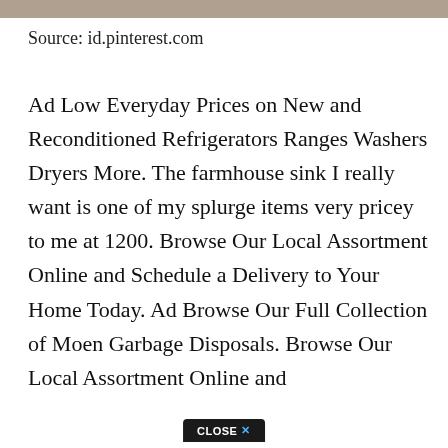[Figure (photo): Cropped top edge of an image strip showing a kitchen or home scene]
Source: id.pinterest.com
Ad Low Everyday Prices on New and Reconditioned Refrigerators Ranges Washers Dryers More. The farmhouse sink I really want is one of my splurge items very pricey to me at 1200. Browse Our Local Assortment Online and Schedule a Delivery to Your Home Today. Ad Browse Our Full Collection of Moen Garbage Disposals. Browse Our Local Assortment Online and
[Figure (other): Close button overlay at the bottom center reading CLOSE X]